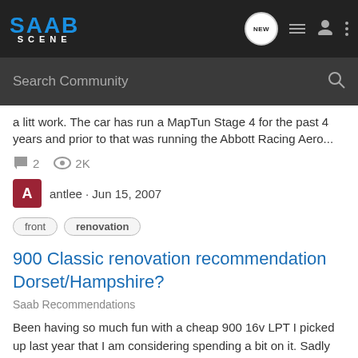[Figure (logo): SAAB SCENE logo in blue and white on dark background]
Search Community
a litt work. The car has run a MapTun Stage 4 for the past 4 years and prior to that was running the Abbott Racing Aero...
2  2K
antlee · Jun 15, 2007
front
renovation
900 Classic renovation recommendation Dorset/Hampshire?
Saab Recommendations
Been having so much fun with a cheap 900 16v LPT I picked up last year that I am considering spending a bit on it. Sadly no facilities or time to do myself so will need to find a specialist. Thinking along the lines of a new interior & a bit